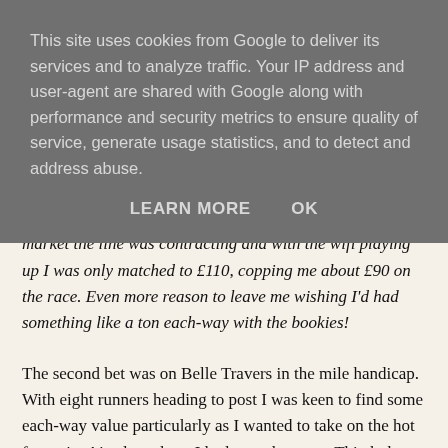This site uses cookies from Google to deliver its services and to analyze traffic. Your IP address and user-agent are shared with Google along with performance and security metrics to ensure quality of service, generate usage statistics, and to detect and address abuse.
LEARN MORE   OK
poor in places and while trying to get £300 on in the place market the line was contracting and with the wifi playing up I was only matched to £110, copping me about £90 on the race. Even more reason to leave me wishing I'd had something like a ton each-way with the bookies!
The second bet was on Belle Travers in the mile handicap. With eight runners heading to post I was keen to find some each-way value particularly as I wanted to take on the hot favourite Ajaadat, whom I had not taken to at Thirsk the time before last. The only issue would be the price.
Belle Travers had been 8/1 all day but was down to 6s by the time I hit the ring, and at that price I was a bit reluctant. However, one